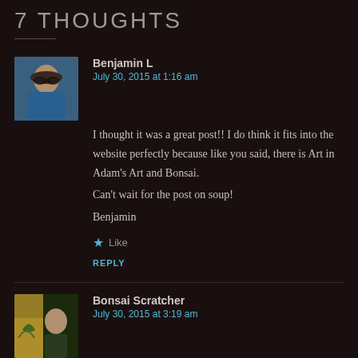7 THOUGHTS
[Figure (photo): Avatar photo of Benjamin L, a man wearing sunglasses and a blue shirt outdoors]
Benjamin L
July 30, 2015 at 1:16 am
I thought it was a great post!! I do think it fits into the website perfectly because like you said, there is Art in Adam’s Art and Bonsai.
Can’t wait for the post on soup!
Benjamin
★ Like
REPLY
[Figure (photo): Avatar photo of Bonsai Scratcher, a person near bonsai plants]
Bonsai Scratcher
July 30, 2015 at 3:19 am